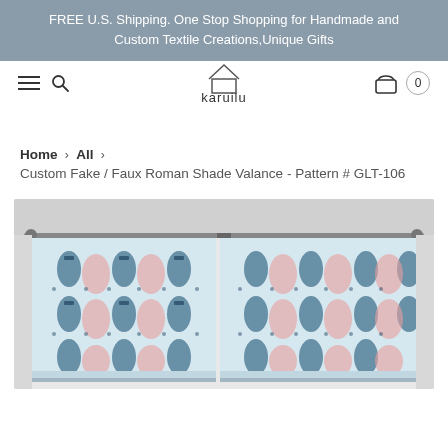FREE U.S. Shipping. One Stop Shopping for Handmade and Custom Textile Creations,Unique Gifts
[Figure (logo): Karuilu brand logo with stylized house icon above text 'karuilu']
Home › All › Custom Fake / Faux Roman Shade Valance - Pattern # GLT-106
[Figure (photo): Product photo of a faux Roman shade valance with a blue, pink, and white geometric/medallion pattern, hung on a curtain rod in front of a window with a white frame.]